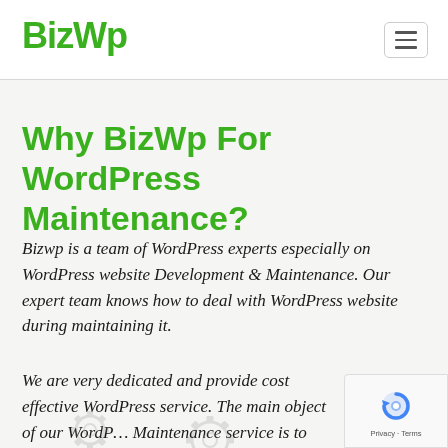BizWp
Why BizWp For WordPress Maintenance?
Bizwp is a team of WordPress experts especially on WordPress website Development & Maintenance. Our expert team knows how to deal with WordPress website during maintaining it.
We are very dedicated and provide cost effective WordPress service. The main object of our WordPress Maintenance service is to provide best effort to our